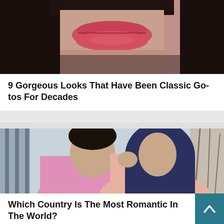[Figure (photo): Close-up photo of a woman's face, showing lips with pink/coral lipstick and dark hair, cropped at top]
9 Gorgeous Looks That Have Been Classic Go-tos For Decades
[Figure (photo): Photo of a couple: a man in a pink shirt kissing a woman wearing a dark navy hijab and pink jacket on her cheek, outdoor winter background with dry branches]
Which Country Is The Most Romantic In The World?